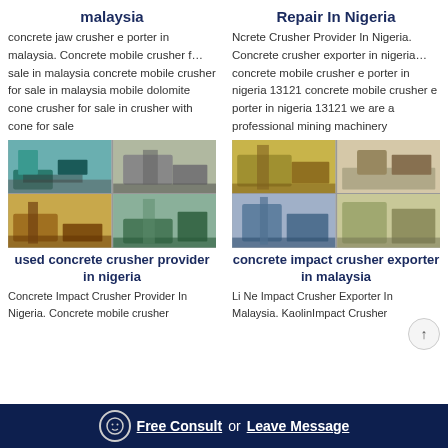malaysia
Repair In Nigeria
concrete jaw crusher e porter in malaysia. Concrete mobile crusher f… sale in malaysia concrete mobile crusher for sale in malaysia mobile dolomite cone crusher for sale in crusher with cone for sale
Ncrete Crusher Provider In Nigeria. Concrete crusher exporter in nigeria… concrete mobile crusher e porter in nigeria 13121 concrete mobile crusher e porter in nigeria 13121 we are a professional mining machinery
[Figure (photo): Four photos of heavy crushing machinery and equipment at mining/quarry sites, arranged in 2x2 grid]
[Figure (photo): Four photos of heavy crushing machinery and equipment at mining/quarry sites in Nigeria, arranged in 2x2 grid]
used concrete crusher provider in nigeria
concrete impact crusher exporter in malaysia
Concrete Impact Crusher Provider In Nigeria. Concrete mobile crusher
Li Ne Impact Crusher Exporter In Malaysia. KaolinImpact Crusher
Free Consult or Leave Message